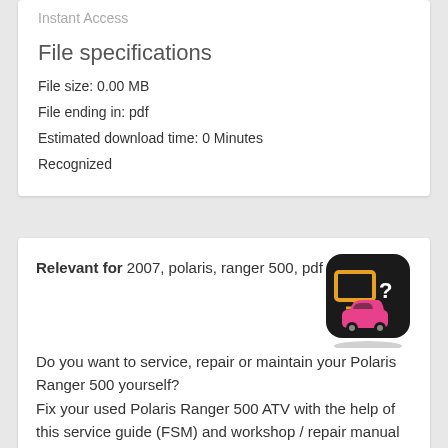Instant Access
File specifications
File size: 0.00 MB
File ending in: pdf
Estimated download time: 0 Minutes
Recognized
Relevant for 2007, polaris, ranger 500, pdf
[Figure (logo): App icon with black rounded square background, showing an orange monitor/screen icon and a pink car icon]
Do you want to service, repair or maintain your Polaris Ranger 500 yourself?
Fix your used Polaris Ranger 500 ATV with the help of this service guide (FSM) and workshop / repair manual (PDF).